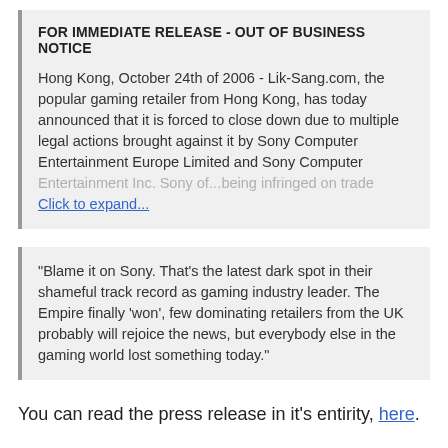FOR IMMEDIATE RELEASE - OUT OF BUSINESS NOTICE
Hong Kong, October 24th of 2006 - Lik-Sang.com, the popular gaming retailer from Hong Kong, has today announced that it is forced to close down due to multiple legal actions brought against it by Sony Computer Entertainment Europe Limited and Sony Computer Entertainment Inc. Sony of... [faded] ...being infringed on trade Click to expand...
"Blame it on Sony. That's the latest dark spot in their shameful track record as gaming industry leader. The Empire finally 'won', few dominating retailers from the UK probably will rejoice the news, but everybody else in the gaming world lost something today."
You can read the press release in it's entirity, here.
[partially visible bottom text]